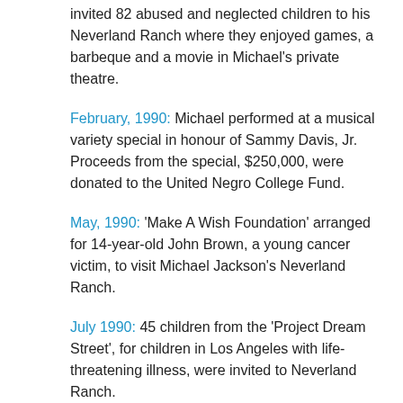invited 82 abused and neglected children to his Neverland Ranch where they enjoyed games, a barbeque and a movie in Michael's private theatre.
February, 1990: Michael performed at a musical variety special in honour of Sammy Davis, Jr. Proceeds from the special, $250,000, were donated to the United Negro College Fund.
May, 1990: 'Make A Wish Foundation' arranged for 14-year-old John Brown, a young cancer victim, to visit Michael Jackson's Neverland Ranch.
July 1990: 45 children from the 'Project Dream Street', for children in Los Angeles with life-threatening illness, were invited to Neverland Ranch.
August 18, 1990: Michael invited 130 children from the YMCA summer program of Los Angeles and Santa Barbara to his Neverland Ranch. They enjoy a barbecue, play video games, visit his zoo and watch movies. Each child took home